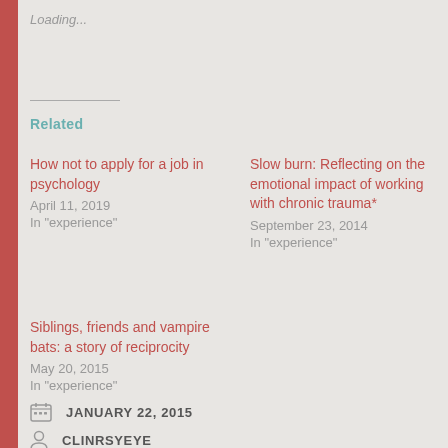Loading...
Related
How not to apply for a job in psychology
April 11, 2019
In "experience"
Slow burn: Reflecting on the emotional impact of working with chronic trauma*
September 23, 2014
In "experience"
Siblings, friends and vampire bats: a story of reciprocity
May 20, 2015
In "experience"
JANUARY 22, 2015
CLINRSYEYE